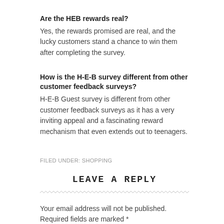Are the HEB rewards real?
Yes, the rewards promised are real, and the lucky customers stand a chance to win them after completing the survey.
How is the H-E-B survey different from other customer feedback surveys?
H-E-B Guest survey is different from other customer feedback surveys as it has a very inviting appeal and a fascinating reward mechanism that even extends out to teenagers.
FILED UNDER: SHOPPING
LEAVE A REPLY
Your email address will not be published. Required fields are marked *